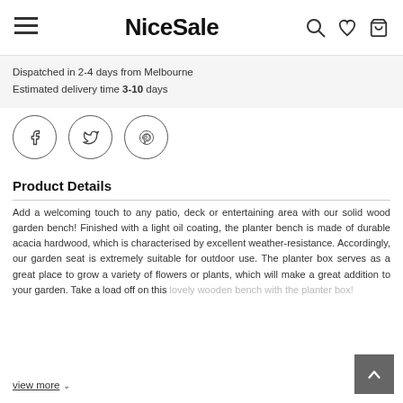NiceSale
Dispatched in 2-4 days from Melbourne
Estimated delivery time 3-10 days
[Figure (other): Social share buttons: Facebook, Twitter, Pinterest — circular icon buttons]
Product Details
Add a welcoming touch to any patio, deck or entertaining area with our solid wood garden bench! Finished with a light oil coating, the planter bench is made of durable acacia hardwood, which is characterised by excellent weather-resistance. Accordingly, our garden seat is extremely suitable for outdoor use. The planter box serves as a great place to grow a variety of flowers or plants, which will make a great addition to your garden. Take a load off on this lovely wooden bench with the planter box!
view more